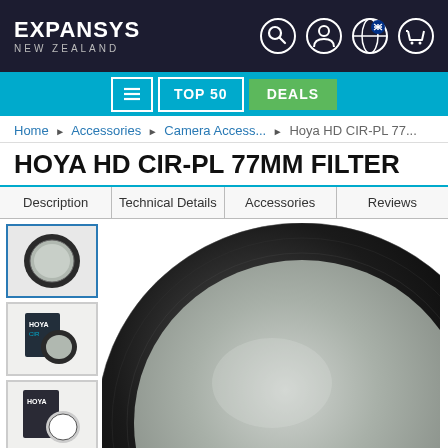EXPANSYS NEW ZEALAND
TOP 50 | DEALS
Home ▶ Accessories ▶ Camera Access... ▶ Hoya HD CIR-PL 77...
HOYA HD CIR-PL 77MM FILTER
| Description | Technical Details | Accessories | Reviews |
| --- | --- | --- | --- |
[Figure (photo): Four product thumbnail images of the Hoya HD CIR-PL 77mm filter showing filter alone, filter in box, filter with case, and outdoor scene.]
[Figure (photo): Large main product image of the Hoya HD CIR-PL 77mm circular polarizing filter showing the round black-rimmed filter with grey polarizing glass.]